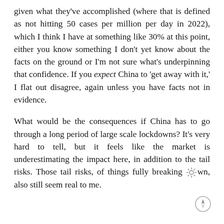given what they've accomplished (where that is defined as not hitting 50 cases per million per day in 2022), which I think I have at something like 30% at this point, either you know something I don't yet know about the facts on the ground or I'm not sure what's underpinning that confidence. If you expect China to 'get away with it,' I flat out disagree, again unless you have facts not in evidence.
What would be the consequences if China has to go through a long period of large scale lockdowns? It's very hard to tell, but it feels like the market is underestimating the impact here, in addition to the tail risks. Those tail risks, of things fully breaking down, also still seem real to me.